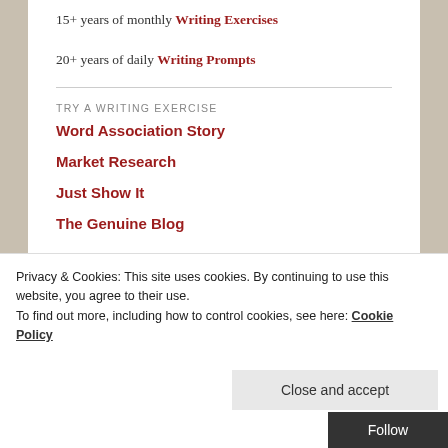15+ years of monthly Writing Exercises
20+ years of daily Writing Prompts
TRY A WRITING EXERCISE
Word Association Story
Market Research
Just Show It
The Genuine Blog
Privacy & Cookies: This site uses cookies. By continuing to use this website, you agree to their use.
To find out more, including how to control cookies, see here: Cookie Policy
Close and accept
Follow